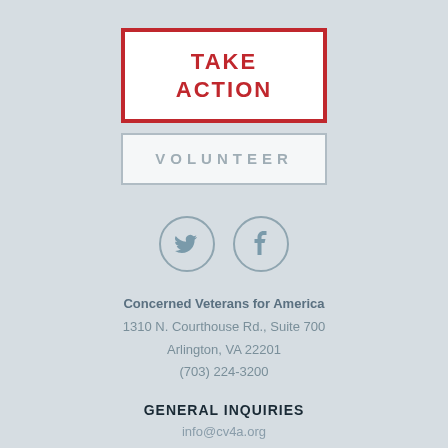TAKE ACTION
VOLUNTEER
[Figure (illustration): Twitter and Facebook social media icons in circles]
Concerned Veterans for America
1310 N. Courthouse Rd., Suite 700
Arlington, VA 22201
(703) 224-3200
GENERAL INQUIRIES
info@cv4a.org
PRESS INQUIRIES
press@cv4a.org